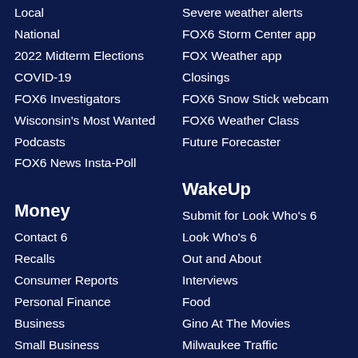Local
National
2022 Midterm Elections
COVID-19
FOX6 Investigators
Wisconsin's Most Wanted
Podcasts
FOX6 News Insta-Poll
Severe weather alerts
FOX6 Storm Center app
FOX Weather app
Closings
FOX6 Snow Stick webcam
FOX6 Weather Class
Future Forecaster
Money
Contact 6
Recalls
Consumer Reports
Personal Finance
Business
Small Business
WakeUp
Submit for Look Who's 6
Look Who's 6
Out and About
Interviews
Food
Gino At The Movies
Milwaukee Traffic